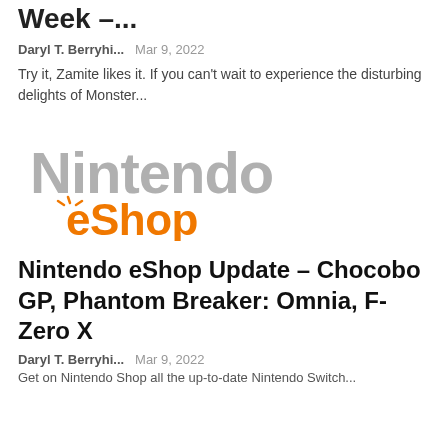Week –...
Daryl T. Berryhi...   Mar 9, 2022
Try it, Zamite likes it. If you can't wait to experience the disturbing delights of Monster...
[Figure (logo): Nintendo eShop logo — 'Nintendo' in large grey text, 'eShop' in orange with a stylized sun icon]
Nintendo eShop Update – Chocobo GP, Phantom Breaker: Omnia, F-Zero X
Daryl T. Berryhi...   Mar 9, 2022
Get on Nintendo Shop all the up-to-date Nintendo Switch...